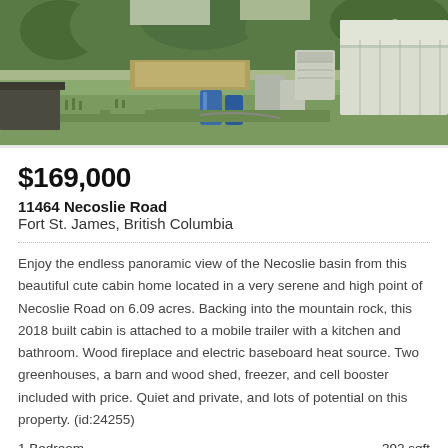[Figure (photo): Outdoor farm property scene with greenhouse structures, blue barrels, garden beds, and trees in the background]
$169,000
11464 Necoslie Road
Fort St. James, British Columbia
Enjoy the endless panoramic view of the Necoslie basin from this beautiful cute cabin home located in a very serene and high point of Necoslie Road on 6.09 acres. Backing into the mountain rock, this 2018 built cabin is attached to a mobile trailer with a kitchen and bathroom. Wood fireplace and electric baseboard heat source. Two greenhouses, a barn and wood shed, freezer, and cell booster included with price. Quiet and private, and lots of potential on this property. (id:24255)
1 Bedroom    392 sqft